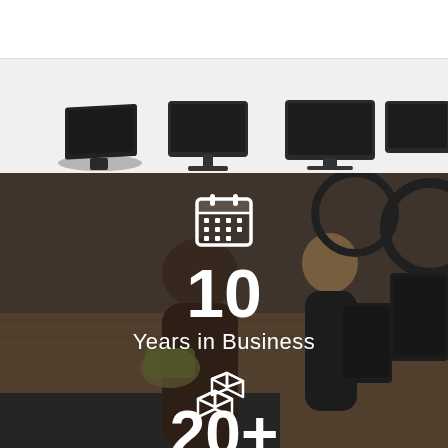[Figure (logo): iCE POSsibly the BEST! logo with red circle and teal/blue horizontal bars]
[Figure (photo): Navigation hamburger menu button (three horizontal lines) on red/coral square background]
[Figure (photo): Horizontal product strip showing multiple POS terminal hardware devices in dark/black on light grey background]
[Figure (photo): Background photo of retail/cafe checkout counter with staff and customers, overlaid with stats: calendar icon, number 10, Years in Business text, product/box icon, and 20+ text]
10
Years in Business
20+